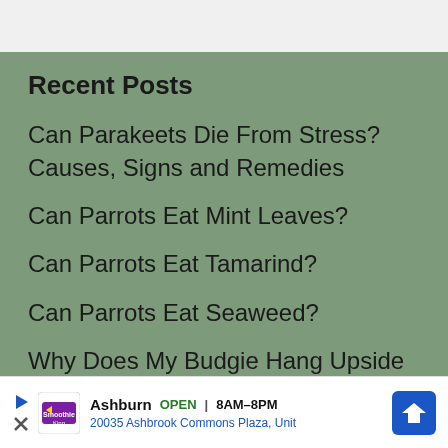Recent Posts
Can Parakeets Die From Stress? Causes, Signs and Remedies
Can Parrots Eat Mint Leaves?
Can Parrots Eat Tamarind?
Can Parrots Eat Seaweed?
Why Does My Budgie Hang Upside Down?
[Figure (infographic): Advertisement banner for Smoothie King in Ashburn, showing OPEN 8AM-8PM, address 20035 Ashbrook Commons Plaza, Unit, with navigation arrow icon]